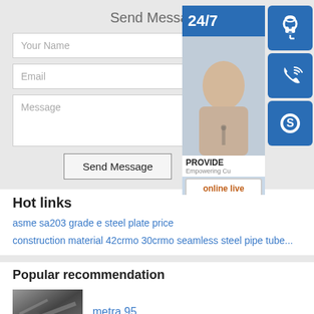Send Message
[Figure (screenshot): Contact form with fields: Your Name, Email, Message, and a Send Message button. Overlaid on the right is a customer support widget showing 24/7 badge, a photo of a woman with headset, icons for headset/phone/Skype, and an 'online live' button.]
Hot links
asme sa203 grade e steel plate price
construction material 42crmo 30crmo seamless steel pipe tube...
Popular recommendation
[Figure (photo): Thumbnail photo of industrial/steel product in black and white]
metra 95